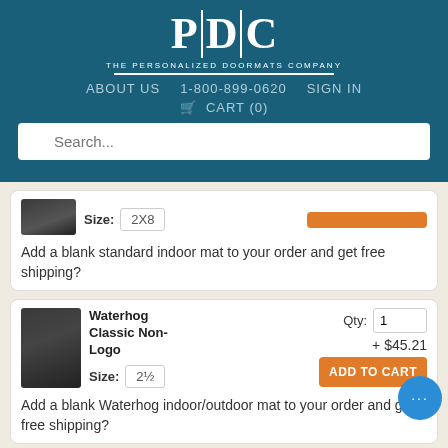[Figure (logo): PDC - The Personalized Doormats Company logo, white on teal background]
ABOUT US   1-800-899-0620   SIGN IN
🛒 CART (0)
Search...
Size: 2X8   [ADD TO CART button - partial]
Add a blank standard indoor mat to your order and get free shipping?
Waterhog Classic Non-Logo
+ $45.21
Size: 2½
Qty: 1
ADD TO CART
Add a blank Waterhog indoor/outdoor mat to your order and get free shipping?